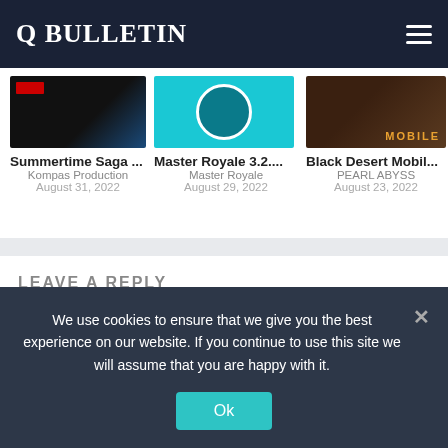Q BULLETIN
[Figure (screenshot): Card thumbnail for Summertime Saga showing dark background with flag]
Summertime Saga ...
Kompas Production
August 31, 2022
[Figure (screenshot): Card thumbnail for Master Royale showing teal circular character]
Master Royale 3.2....
Master Royale
August 29, 2022
[Figure (screenshot): Card thumbnail for Black Desert Mobile showing dark background with MOBILE text]
Black Desert Mobil...
PEARL ABYSS
August 23, 2022
LEAVE A REPLY
Enter your comment here...
We use cookies to ensure that we give you the best experience on our website. If you continue to use this site we will assume that you are happy with it.
Ok